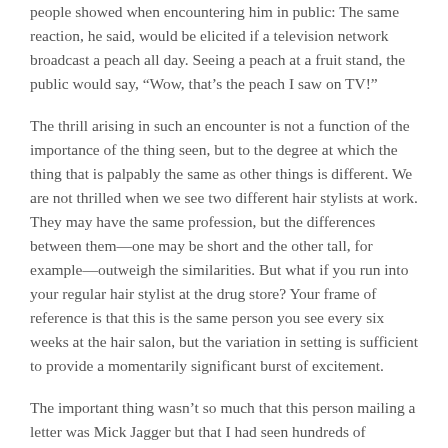people showed when encountering him in public: The same reaction, he said, would be elicited if a television network broadcast a peach all day. Seeing a peach at a fruit stand, the public would say, “Wow, that’s the peach I saw on TV!”
The thrill arising in such an encounter is not a function of the importance of the thing seen, but to the degree at which the thing that is palpably the same as other things is different. We are not thrilled when we see two different hair stylists at work. They may have the same profession, but the differences between them—one may be short and the other tall, for example—outweigh the similarities. But what if you run into your regular hair stylist at the drug store? Your frame of reference is that this is the same person you see every six weeks at the hair salon, but the variation in setting is sufficient to provide a momentarily significant burst of excitement.
The important thing wasn’t so much that this person mailing a letter was Mick Jagger but that I had seen hundreds of pictures of this person, had, in fact, pored over such pictures